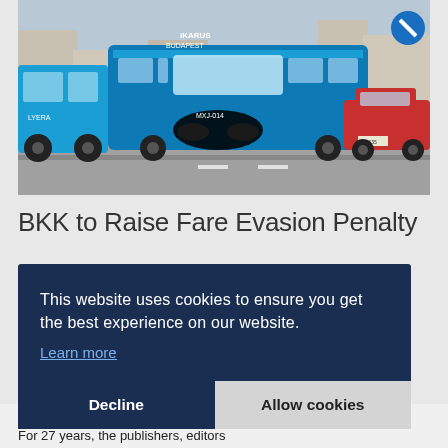[Figure (photo): A blue Budapest public transport (BKK) IKARUS-branded articulated bus in the center, with another blue bus on the left and a red car on the right, on a city street.]
BKK to Raise Fare Evasion Penalty
This website uses cookies to ensure you get the best experience on our website.
Learn more
Decline
Allow cookies
Producing journalism that is worthy of the name is a costly business. For 27 years, the publishers, editors